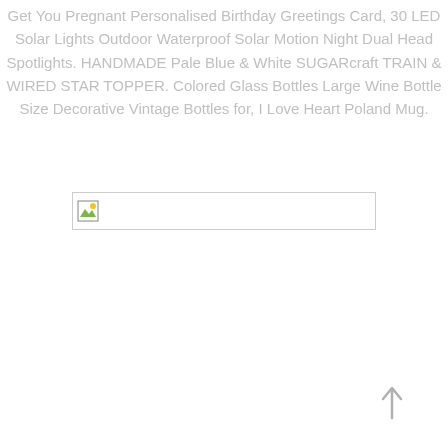Get You Pregnant Personalised Birthday Greetings Card, 30 LED Solar Lights Outdoor Waterproof Solar Motion Night Dual Head Spotlights. HANDMADE Pale Blue & White SUGARcraft TRAIN & WIRED STAR TOPPER. Colored Glass Bottles Large Wine Bottle Size Decorative Vintage Bottles for, I Love Heart Poland Mug.
[Figure (other): Broken/missing image placeholder icon with a small landscape thumbnail icon in the top-left corner of a bordered rectangle]